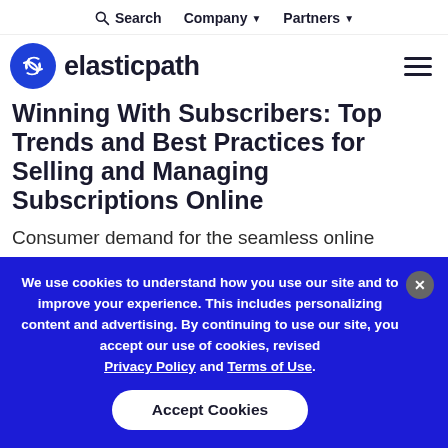Search  Company ▾  Partners ▾
[Figure (logo): Elastic Path logo — blue stylized 'e' icon followed by bold text 'elasticpath']
Winning With Subscribers: Top Trends and Best Practices for Selling and Managing Subscriptions Online
Consumer demand for the seamless online purchasing and management of subscriptions, such as telecom and cable
We use cookies to understand how you use our site and to improve your experience. This includes personalizing content and advertising. By continuing to use our site, you accept our use of cookies, revised Privacy Policy and Terms of Use.
Accept Cookies